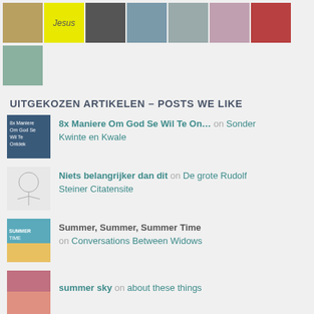[Figure (photo): Grid of thumbnail images at top of page including various photos and a yellow Jesus text image]
UITGEKOZEN ARTIKELEN – POSTS WE LIKE
[Figure (photo): Thumbnail for '8x Maniere Om God Se Wil Te On…' post]
8x Maniere Om God Se Wil Te On… on Sonder Kwinte en Kwale
[Figure (photo): Thumbnail sketch portrait for 'Niets belangrijker dan dit' post]
Niets belangrijker dan dit on De grote Rudolf Steiner Citatensite
[Figure (photo): Colorful summer thumbnail for 'Summer, Summer, Summer Time' post]
Summer, Summer, Summer Time on Conversations Between Widows
[Figure (photo): Pink/purple sky thumbnail for 'summer sky' post]
summer sky on about these things
[Figure (photo): Blue thumbnail for 'The Living Breathing Heart of…' post]
The Living Breathing Heart of… on Dana Smith